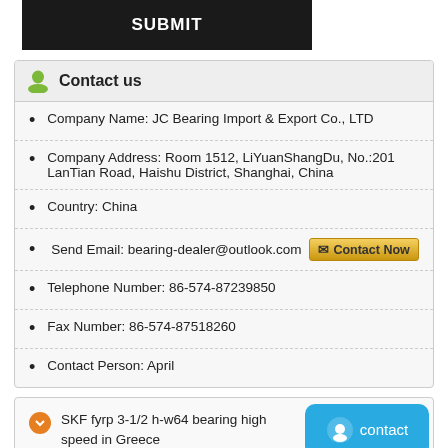SUBMIT
Contact us
Company Name: JC Bearing Import & Export Co., LTD
Company Address: Room 1512, LiYuanShangDu, No.:201 LanTian Road, Haishu District, Shanghai, China
Country: China
Send Email: bearing-dealer@outlook.com  Contact Now
Telephone Number: 86-574-87239850
Fax Number: 86-574-87518260
Contact Person: April
SKF fyrp 3-1/2 h-w64 bearing high speed in Greece